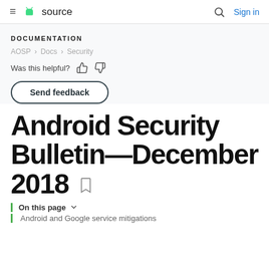≡  source   🔍  Sign in
DOCUMENTATION
AOSP / Docs / Security
Was this helpful? 👍 👎
Send feedback
Android Security Bulletin—December 2018
On this page
Android and Google service mitigations